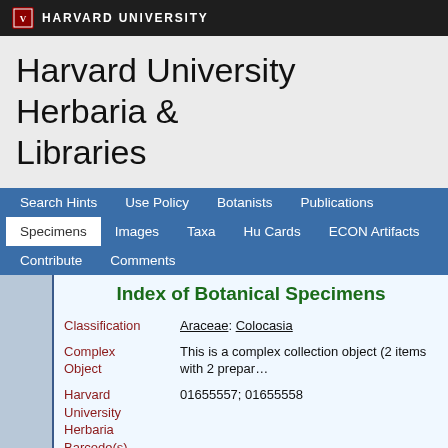HARVARD UNIVERSITY
Harvard University Herbaria & Libraries
Search Hints  Use Policy  Botanists  Publications  Specimens  Images  Taxa  Hu Cards  ECON Artifacts  Contribute  Comments
Index of Botanical Specimens
| Field | Value |
| --- | --- |
| Classification | Araceae: Colocasia |
| Complex Object | This is a complex collection object (2 items with 2 prepar... |
| Harvard University Herbaria Barcode(s) | 01655557; 01655558 |
| Collector | C. E. Wood & K. A. Wilson |
| Collector number | 9297 |